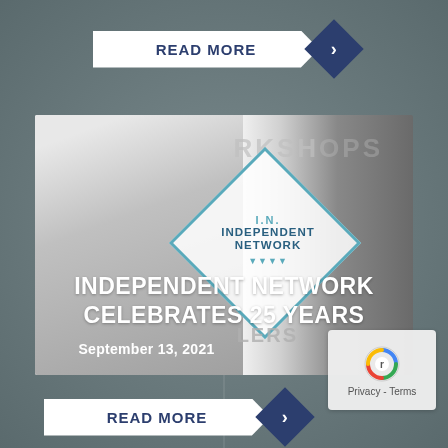READ MORE
[Figure (photo): Woman with short blonde hair smiling, wearing a blue jacket, standing in front of a sign that reads 'IN Independent Network' with 'WORKSHOPS' text visible in background]
INDEPENDENT NETWORK CELEBRATES 25 YEARS
September 13, 2021
[Figure (logo): reCAPTCHA logo with Privacy - Terms text]
READ MORE